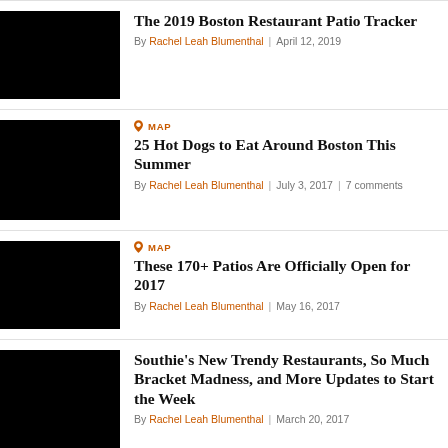The 2019 Boston Restaurant Patio Tracker
By Rachel Leah Blumenthal | April 12, 2019
MAP
25 Hot Dogs to Eat Around Boston This Summer
By Rachel Leah Blumenthal | July 3, 2017 | 7 comments
MAP
These 170+ Patios Are Officially Open for 2017
By Rachel Leah Blumenthal | May 16, 2017
Southie's New Trendy Restaurants, So Much Bracket Madness, and More Updates to Start the Week
By Rachel Leah Blumenthal | March 20, 2017